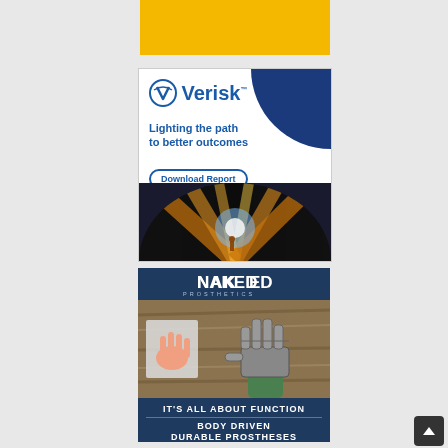[Figure (other): Yellow/gold rectangular banner at top center of page]
[Figure (illustration): Verisk advertisement: white background with dark blue corner accent, Verisk logo (checkmark V icon and Verisk wordmark), tagline 'Lighting the path to better outcomes', 'Download Report' button, and a semicircular image of a person running toward bright light beams]
[Figure (illustration): Naked Prosthetics advertisement: dark navy header with 'NAKED PROSTHETICS' logo, center image showing a mechanical prosthetic hand grasping a wood surface next to a small inset of a natural hand, dark navy footer with text 'IT'S ALL ABOUT FUNCTION' and 'BODY DRIVEN DURABLE PROSTHESES']